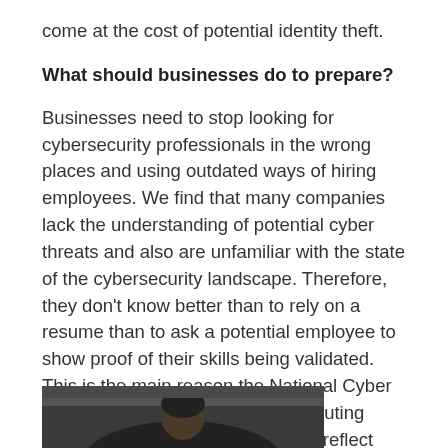come at the cost of potential identity theft.
What should businesses do to prepare?
Businesses need to stop looking for cybersecurity professionals in the wrong places and using outdated ways of hiring employees. We find that many companies lack the understanding of potential cyber threats and also are unfamiliar with the state of the cybersecurity landscape. Therefore, they don't know better than to rely on a resume than to ask a potential employee to show proof of their skills being validated. This is the main reason the National Cyber League started providing NCL Scouting Reports. Not only does this report reflect personal cybersecurity skills growth, but cybersecurity students are getting jobs as it shows employers their skills are tested and validated.
[Figure (photo): Bottom portion of a photograph showing a person, cropped at the bottom of the page]